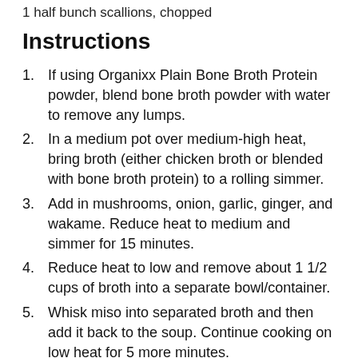1 half bunch scallions, chopped
Instructions
If using Organixx Plain Bone Broth Protein powder, blend bone broth powder with water to remove any lumps.
In a medium pot over medium-high heat, bring broth (either chicken broth or blended with bone broth protein) to a rolling simmer.
Add in mushrooms, onion, garlic, ginger, and wakame. Reduce heat to medium and simmer for 15 minutes.
Reduce heat to low and remove about 1 1/2 cups of broth into a separate bowl/container.
Whisk miso into separated broth and then add it back to the soup. Continue cooking on low heat for 5 more minutes.
Ladle soup into bowls and garnish with chopped scallions.